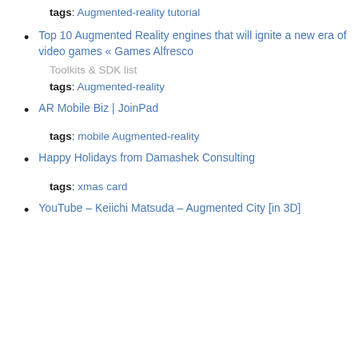tags: Augmented-reality tutorial
Top 10 Augmented Reality engines that will ignite a new era of video games « Games Alfresco
Toolkits & SDK list
tags: Augmented-reality
AR Mobile Biz | JoinPad
tags: mobile Augmented-reality
Happy Holidays from Damashek Consulting
tags: xmas card
YouTube – Keiichi Matsuda – Augmented City [in 3D]